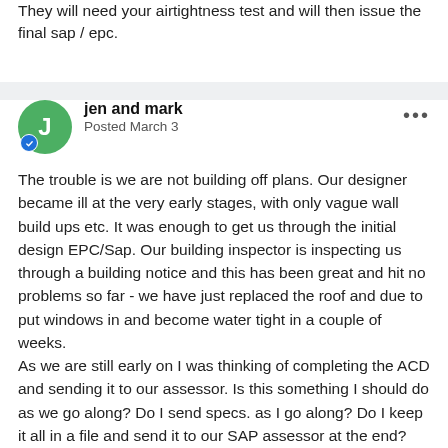They will need your airtightness test and will then issue the final sap / epc.
jen and mark
Posted March 3
The trouble is we are not building off plans. Our designer became ill at the very early stages, with only vague wall build ups etc. It was enough to get us through the initial design EPC/Sap. Our building inspector is inspecting us through a building notice and this has been great and hit no problems so far - we have just replaced the roof and due to put windows in and become water tight in a couple of weeks.
As we are still early on I was thinking of completing the ACD and sending it to our assessor. Is this something I should do as we go along? Do I send specs. as I go along? Do I keep it all in a file and send it to our SAP assessor at the end?
Our assessor is online up north and we are in the midlands. He is very busy and although he answers key questions he is not very